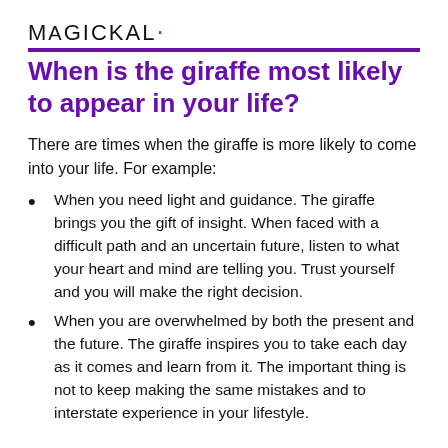MAGICKAL·
When is the giraffe most likely to appear in your life?
There are times when the giraffe is more likely to come into your life. For example:
When you need light and guidance. The giraffe brings you the gift of insight. When faced with a difficult path and an uncertain future, listen to what your heart and mind are telling you. Trust yourself and you will make the right decision.
When you are overwhelmed by both the present and the future. The giraffe inspires you to take each day as it comes and learn from it. The important thing is not to keep making the same mistakes and to interstate experience in your lifestyle.